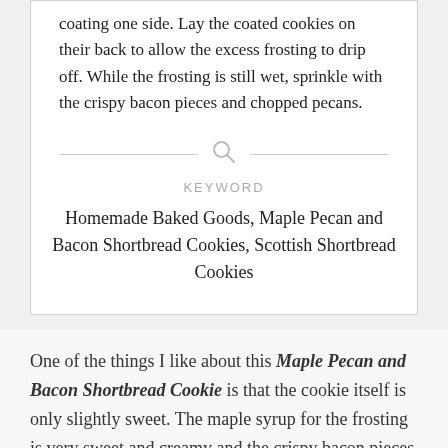coating one side. Lay the coated cookies on their back to allow the excess frosting to drip off. While the frosting is still wet, sprinkle with the crispy bacon pieces and chopped pecans.
KEYWORD
Homemade Baked Goods, Maple Pecan and Bacon Shortbread Cookies, Scottish Shortbread Cookies
One of the things I like about this Maple Pecan and Bacon Shortbread Cookie is that the cookie itself is only slightly sweet. The maple syrup for the frosting is very sweet and creamy and the crispy bacon pieces and chopped pecans are a little salty. When you get a mouthful of this